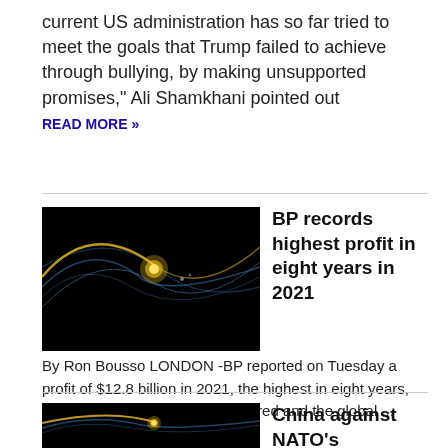current US administration has so far tried to meet the goals that Trump failed to achieve through bullying, by making unsupported promises," Ali Shamkhani pointed out READ MORE »
[Figure (photo): Dark background image with glowing yellow orb and light blue curved streaks resembling a space or network visualization]
BP records highest profit in eight years in 2021
By Ron Bousso LONDON -BP reported on Tuesday a profit of $12.8 billion in 2021, the highest in eight years, as natural gas and oil prices soared and the global ... READ MORE »
[Figure (photo): Dark background image with glowing yellow orb and light blue curved streaks resembling a space or network visualization]
China against NATO's expansion, sees it as useless for global